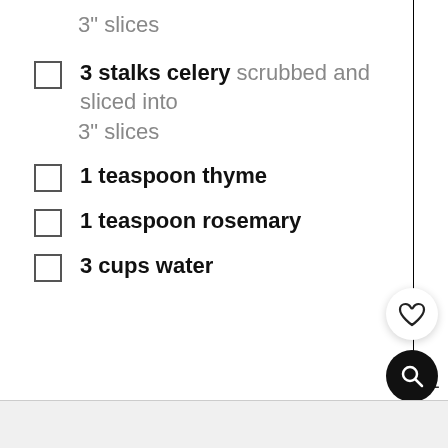3" slices (continuation)
3 stalks celery scrubbed and sliced into 3" slices
1 teaspoon thyme
1 teaspoon rosemary
3 cups water
261